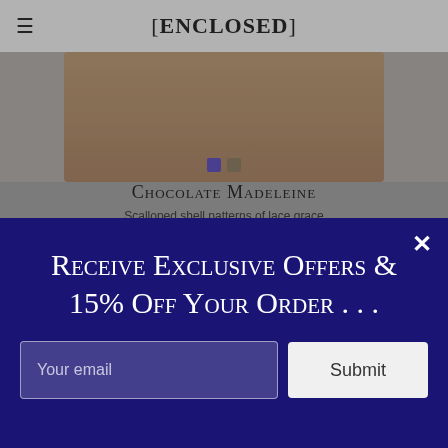[ENCLOSED]
[Figure (photo): Top portion of a lingerie product photo on grey background with color swatches]
Chocolate Madeleine
Scalloped shell patterns of lace grace
[Figure (screenshot): Modal popup overlay with email signup form: 'Receive Exclusive Offers & 15% Off Your Order ...' with email input and Submit button]
[Figure (photo): Bottom portion of lingerie product photo showing black and red underwear from behind]